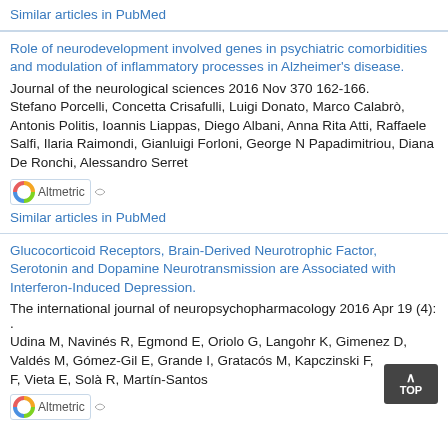Similar articles in PubMed
Role of neurodevelopment involved genes in psychiatric comorbidities and modulation of inflammatory processes in Alzheimer's disease.
Journal of the neurological sciences 2016 Nov 370 162-166.
Stefano Porcelli, Concetta Crisafulli, Luigi Donato, Marco Calabrò, Antonis Politis, Ioannis Liappas, Diego Albani, Anna Rita Atti, Raffaele Salfi, Ilaria Raimondi, Gianluigi Forloni, George N Papadimitriou, Diana De Ronchi, Alessandro Serret
[Figure (logo): Altmetric badge with colorful donut icon]
Similar articles in PubMed
Glucocorticoid Receptors, Brain-Derived Neurotrophic Factor, Serotonin and Dopamine Neurotransmission are Associated with Interferon-Induced Depression.
The international journal of neuropsychopharmacology 2016 Apr 19 (4): .
Udina M, Navinés R, Egmond E, Oriolo G, Langohr K, Gimenez D, Valdés M, Gómez-Gil E, Grande I, Gratacós M, Kapczinski F, F, Vieta E, Solà R, Martín-Santos
[Figure (logo): Altmetric badge with colorful donut icon]